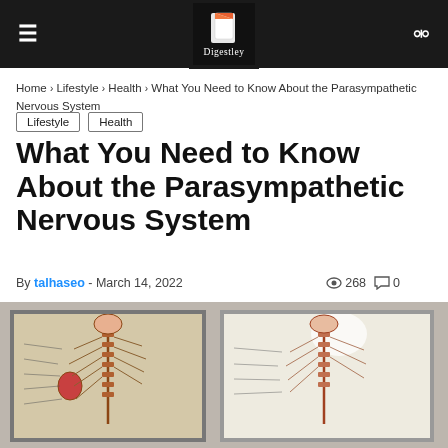Digestley (navigation header with hamburger menu, logo, and search icon)
Home › Lifestyle › Health › What You Need to Know About the Parasympathetic Nervous System
Lifestyle
Health
What You Need to Know About the Parasympathetic Nervous System
By talhaseo - March 14, 2022   268   0
[Figure (photo): Two framed anatomical diagrams of the human nervous system (parasympathetic), showing the brain, spinal cord, and connected organs with labeled nerves. Left diagram has warm beige tones; right diagram has cooler light tones.]